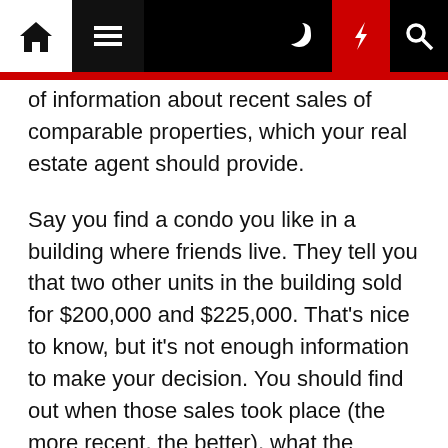Navigation bar with home, menu, moon, flash, and search icons
of information about recent sales of comparable properties, which your real estate agent should provide.
Say you find a condo you like in a building where friends live. They tell you that two other units in the building sold for $200,000 and $225,000. That's nice to know, but it's not enough information to make your decision. You should find out when those sales took place (the more recent, the better), what the properties were originally listed for and how long they were on the market. The closer to the original list price and the faster the property sold, the more accurately that seller set their price for the current market.
Plus, you'll want to know how the units compare in size, style, amenities and location in the building.